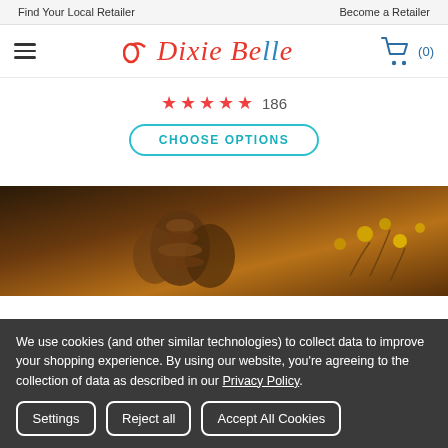Find Your Local Retailer    Become a Retailer
[Figure (logo): Dixie Belle logo with hamburger menu and cart icon showing (0)]
★★★★★ 186
CHOOSE OPTIONS
[Figure (photo): Decorative photo with pine cones and yellow flowers on dark wooden surface]
We use cookies (and other similar technologies) to collect data to improve your shopping experience. By using our website, you're agreeing to the collection of data as described in our Privacy Policy.
Settings    Reject all    Accept All Cookies